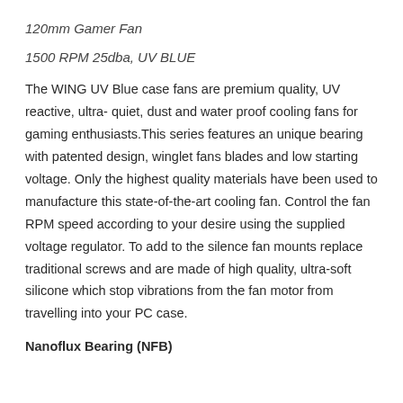120mm Gamer Fan
1500 RPM 25dba, UV BLUE
The WING UV Blue case fans are premium quality, UV reactive, ultra- quiet, dust and water proof cooling fans for gaming enthusiasts.This series features an unique bearing with patented design, winglet fans blades and low starting voltage. Only the highest quality materials have been used to manufacture this state-of-the-art cooling fan. Control the fan RPM speed according to your desire using the supplied voltage regulator. To add to the silence fan mounts replace traditional screws and are made of high quality, ultra-soft silicone which stop vibrations from the fan motor from travelling into your PC case.
Nanoflux Bearing (NFB)